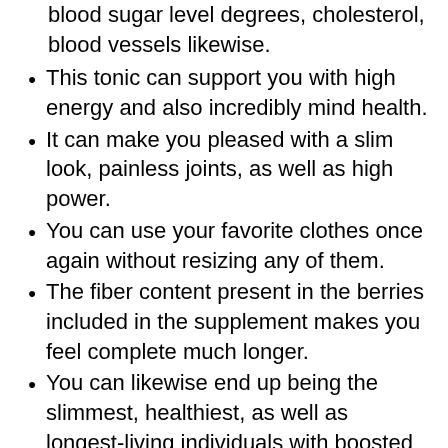it preserves healthy and balanced blood sugar level degrees, cholesterol, blood vessels likewise.
This tonic can support you with high energy and also incredibly mind health.
It can make you pleased with a slim look, painless joints, as well as high power.
You can use your favorite clothes once again without resizing any of them.
The fiber content present in the berries included in the supplement makes you feel complete much longer.
You can likewise end up being the slimmest, healthiest, as well as longest-living individuals with boosted energy, rest, as well as mental ability.